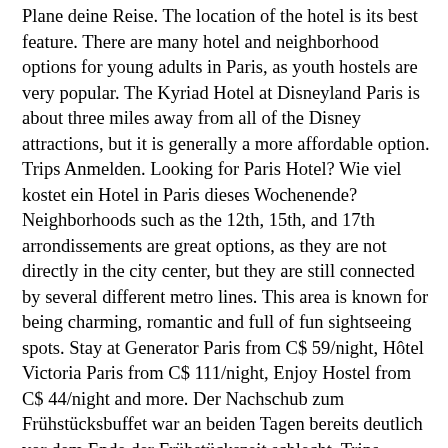Plane deine Reise. The location of the hotel is its best feature. There are many hotel and neighborhood options for young adults in Paris, as youth hostels are very popular. The Kyriad Hotel at Disneyland Paris is about three miles away from all of the Disney attractions, but it is generally a more affordable option. Trips Anmelden. Looking for Paris Hotel? Wie viel kostet ein Hotel in Paris dieses Wochenende? Neighborhoods such as the 12th, 15th, and 17th arrondissements are great options, as they are not directly in the city center, but they are still connected by several different metro lines. This area is known for being charming, romantic and full of fun sightseeing spots. Stay at Generator Paris from C$ 59/night, Hôtel Victoria Paris from C$ 111/night, Enjoy Hostel from C$ 44/night and more. Der Nachschub zum Frühstücksbuffet war an beiden Tagen bereits deutlich vor dem Ende der Frühstückszeit schlecht. Trips. Finde und buche das Hotelangebot im Hôtel Parc Saint Séverin, nach dem du wirklich suchst. KAYAK durchsucht Hunderte Reise-Websites. If you are looking at cheaper hotels that are away from downtown, but that are also accessible by the RER trains, try to find one located near the traditional metro as well. If you are looking for an affordable yet unique experience for your Parisian vacation, consider staying in one of the city's many boutique hotels, such as Hôtel Thoumieux. Suche und finde Angebote für Hôtel Parc Saint Séverin in Paris mit KAYAK. 22 rue de la parcheminerie, 75005 Paris, Frankreich +33 1 43 54 32 17. Teil von . Hotels. Finden Sie das günstige